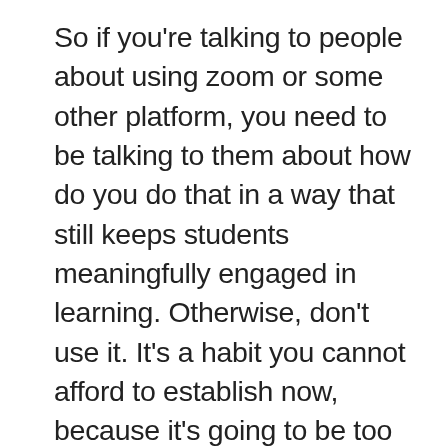So if you're talking to people about using zoom or some other platform, you need to be talking to them about how do you do that in a way that still keeps students meaningfully engaged in learning. Otherwise, don't use it. It's a habit you cannot afford to establish now, because it's going to be too hard to break later on. All money ain't good money. Here's the third question, I want you to ask. What are the short term trade offs? And what are the long term consequences of this decision that I'm about to make? Let me give an example. A lot of schools are having tons of